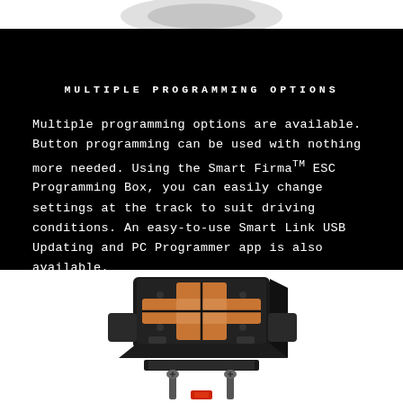[Figure (photo): Partial view of a product (top portion) on white background, cropped at top of page]
MULTIPLE PROGRAMMING OPTIONS
Multiple programming options are available. Button programming can be used with nothing more needed. Using the Smart Firma™ ESC Programming Box, you can easily change settings at the track to suit driving conditions. An easy-to-use Smart Link USB Updating and PC Programmer app is also available.
[Figure (photo): Exploded view of a Smart Firma ESC (Electronic Speed Controller) device showing black housing with copper/orange cross-pattern heat spreader on top, internal components, and mounting screws below, on white background]